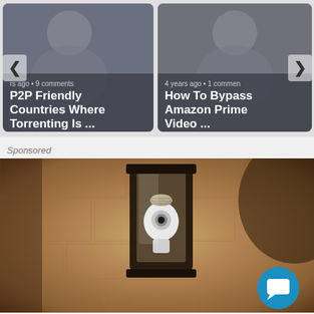[Figure (screenshot): Carousel card showing article: P2P Friendly Countries Where Torrenting Is ... — metadata: years ago, 9 comments]
[Figure (screenshot): Carousel card showing article: How To Bypass Amazon Prime Video ... — metadata: 4 years ago, 1 comment]
Sponsored
[Figure (photo): Photo of an outdoor wall lantern with a white bulb/camera device installed inside it, mounted on a textured stone wall. A blue chat bubble icon is overlaid in the bottom right.]